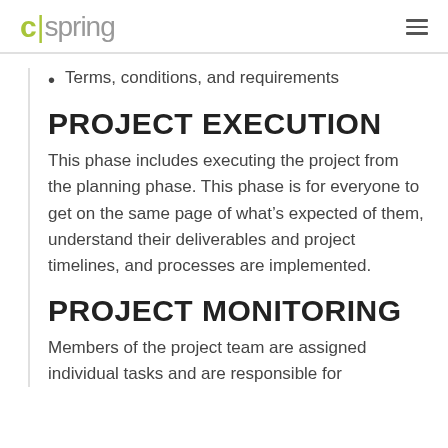c|spring
Terms, conditions, and requirements
PROJECT EXECUTION
This phase includes executing the project from the planning phase. This phase is for everyone to get on the same page of what’s expected of them, understand their deliverables and project timelines, and processes are implemented.
PROJECT MONITORING
Members of the project team are assigned individual tasks and are responsible for